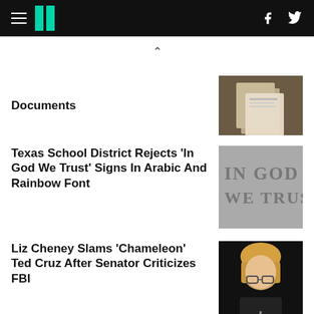HuffPost navigation with hamburger menu, logo, Facebook and Twitter icons
Documents
Texas School District Rejects 'In God We Trust' Signs In Arabic And Rainbow Font
Liz Cheney Slams 'Chameleon' Ted Cruz After Senator Criticizes FBI